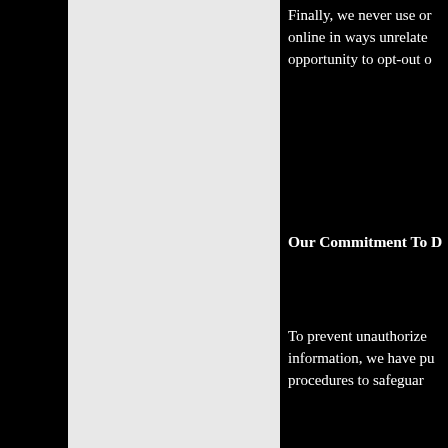Finally, we never use or share the personally identifiable information provided to us online in ways unrelated to the ones described above without also providing you an opportunity to opt-out or otherwise prohibit such unrelated uses.
Our Commitment To D
To prevent unauthorized access, maintain data accuracy, and ensure the correct use of information, we have put in place appropriate physical, electronic, and managerial procedures to safeguard and secure the information we collect online.
Our credit card and check transactions are handled by established, reputable companies secure in processing your personal information.
Our Commitment To C
Protecting the privacy of the very young is especially important. For that reason, we never collect or maintain information at our website from those we actually know are children under 13, and we request that those under 13 not submit any personal information. If a parent or guardian do so